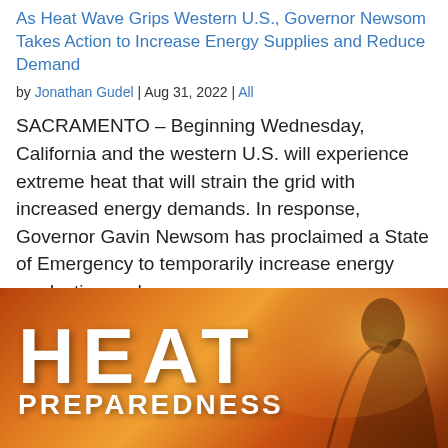As Heat Wave Grips Western U.S., Governor Newsom Takes Action to Increase Energy Supplies and Reduce Demand
by Jonathan Gudel | Aug 31, 2022 | All
SACRAMENTO – Beginning Wednesday, California and the western U.S. will experience extreme heat that will strain the grid with increased energy demands. In response, Governor Gavin Newsom has proclaimed a State of Emergency to temporarily increase energy production and…
[Figure (photo): Heat Preparedness banner image showing the words HEAT PREPAREDNESS in large white bold text over a warm orange/red background with a person silhouette]